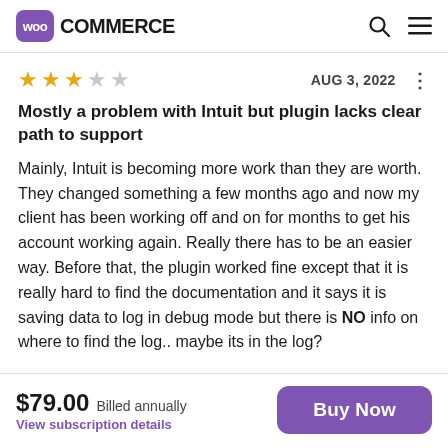WooCommerce
★★★☆☆  AUG 3, 2022
Mostly a problem with Intuit but plugin lacks clear path to support
Mainly, Intuit is becoming more work than they are worth. They changed something a few months ago and now my client has been working off and on for months to get his account working again. Really there has to be an easier way. Before that, the plugin worked fine except that it is really hard to find the documentation and it says it is saving data to log in debug mode but there is NO info on where to find the log.. maybe its in the log?
$79.00 Billed annually View subscription details Buy Now